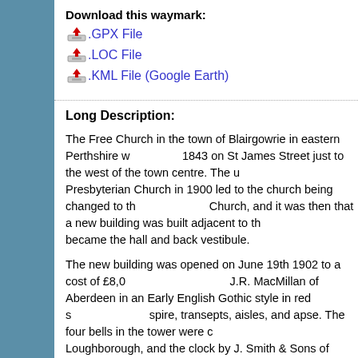Download this waymark:
.GPX File
.LOC File
.KML File (Google Earth)
Long Description:
The Free Church in the town of Blairgowrie in eastern Perthshire was built in 1843 on St James Street just to the west of the town centre. The union with the Free Presbyterian Church in 1900 led to the church being changed to the United Free Church, and it was then that a new building was built adjacent to the old one which became the hall and back vestibule.
The new building was opened on June 19th 1902 to a cost of £8,000 and designed by J.R. MacMillan of Aberdeen in an Early English Gothic style in red sandstone, with spire, transepts, aisles, and apse. The four bells in the tower were cast by Taylors of Loughborough, and the clock by J. Smith & Sons of Derby. The bell tune plays Cambridge Quarters.
In 1929, the church united with the Church of Scotland to become St Mary's Church of Scotland, and the final name change came when it united with the St Andrew's Church to become Blairgowrie Parish Church. This became official on Tuesday